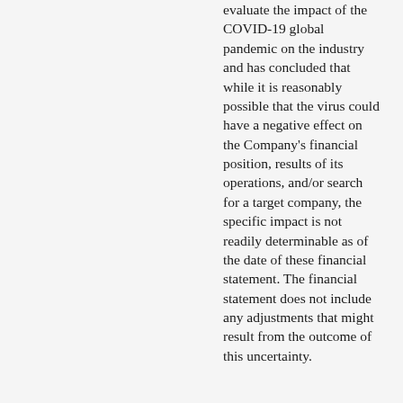evaluate the impact of the COVID-19 global pandemic on the industry and has concluded that while it is reasonably possible that the virus could have a negative effect on the Company's financial position, results of its operations, and/or search for a target company, the specific impact is not readily determinable as of the date of these financial statement. The financial statement does not include any adjustments that might result from the outcome of this uncertainty.